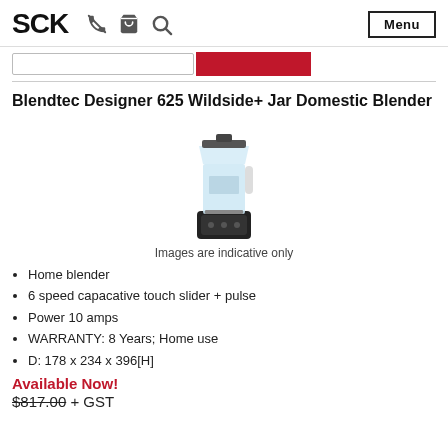SCK  Menu
Blendtec Designer 625 Wildside+ Jar Domestic Blender
[Figure (photo): Photo of a Blendtec Designer 625 blender with clear jar and black base]
Images are indicative only
Home blender
6 speed capacative touch slider + pulse
Power 10 amps
WARRANTY: 8 Years; Home use
D: 178 x 234 x 396[H]
Available Now!
$817.00 + GST